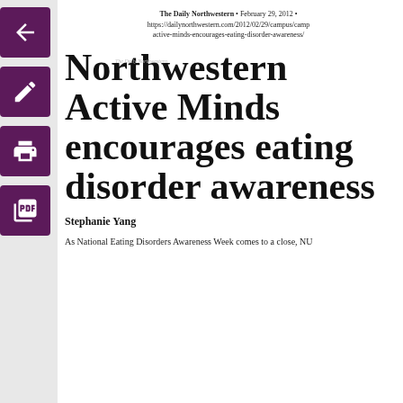[Figure (other): Purple back arrow icon button]
[Figure (other): Purple edit/pencil icon button]
[Figure (other): Purple printer icon button]
[Figure (other): Purple PDF/document icon button]
The Daily Northwestern • February 29, 2012 • https://dailynorthwestern.com/2012/02/29/campus/camp active-minds-encourages-eating-disorder-awareness/
Northwestern Active Minds encourages eating disorder awareness
Stephanie Yang
As National Eating Disorders Awareness Week comes to a close, NU